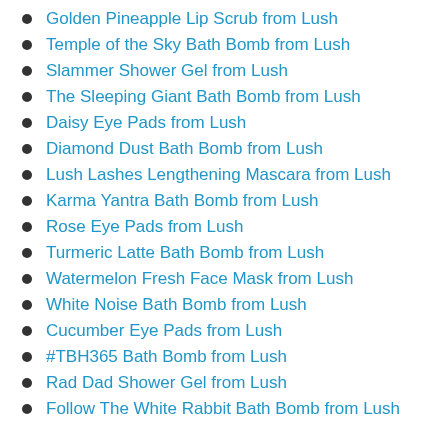Golden Pineapple Lip Scrub from Lush
Temple of the Sky Bath Bomb from Lush
Slammer Shower Gel from Lush
The Sleeping Giant Bath Bomb from Lush
Daisy Eye Pads from Lush
Diamond Dust Bath Bomb from Lush
Lush Lashes Lengthening Mascara from Lush
Karma Yantra Bath Bomb from Lush
Rose Eye Pads from Lush
Turmeric Latte Bath Bomb from Lush
Watermelon Fresh Face Mask from Lush
White Noise Bath Bomb from Lush
Cucumber Eye Pads from Lush
#TBH365 Bath Bomb from Lush
Rad Dad Shower Gel from Lush
Follow The White Rabbit Bath Bomb from Lush